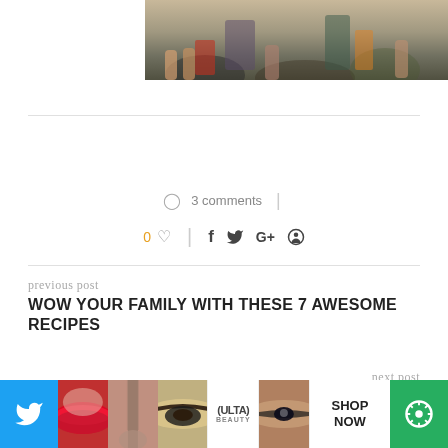[Figure (photo): Partial photo of people seated, visible legs and bags on floor, cropped at top]
☺ 3 comments
0 ♡ | f 𝕥 G+ ⓟ
previous post
WOW YOUR FAMILY WITH THESE 7 AWESOME RECIPES
next post
HOW TO MAKE THE PERFECT LEMONADE BEER COCKTAIL
This website uses cookies to improve your experience. We'll assume you're ok with this, but you can opt-out if you wish
[Figure (infographic): Bottom ad bar with Twitter icon, beauty product photos, Ulta Beauty logo, SHOP NOW button, green settings icon]